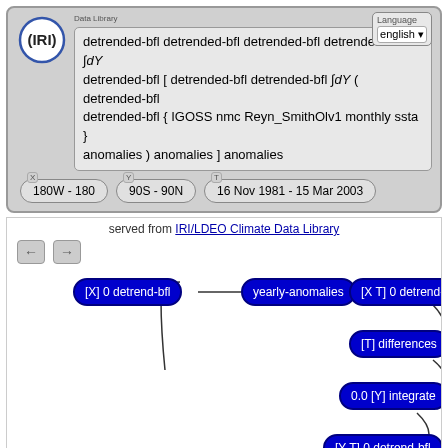[Figure (screenshot): IRI Data Library web interface showing a climate data query with detrended-bfl operations on IGOSS nmc Reyn_SmithOlv1 monthly ssta dataset, with coordinate ranges 180W-180 (X), 90S-90N (Y), 16 Nov 1981 - 15 Mar 2003 (T), language selector set to english]
detrended-bfl detrended-bfl detrended-bfl detrended-bfl ∫dY detrended-bfl [ detrended-bfl detrended-bfl ∫dY ( detrended-bfl detrended-bfl { IGOSS nmc Reyn_SmithOlv1 monthly ssta } anomalies ) anomalies ] anomalies
served from IRI/LDEO Climate Data Library
[Figure (flowchart): Flowchart showing data processing pipeline with blue pill-shaped nodes: [X] 0 detrend-bfl → yearly-anomalies → [X T] 0 detrend-bfl → [T] differences → 0.0 [Y] integrate → [Y T] 0 detrend-bfl → [Y T] 0 detrend-bfl, connected by curved lines]